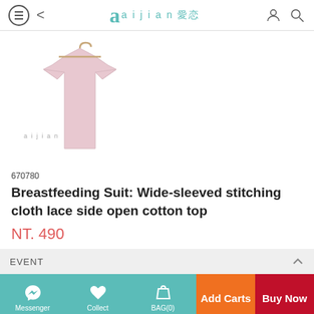aijian 愛恋
[Figure (photo): Pink short-sleeved breastfeeding top hanging on a wooden hanger, with aijian watermark text]
670780
Breastfeeding Suit: Wide-sleeved stitching cloth lace side open cotton top
NT. 490
EVENT
Messenger | Collect | BAG(0) | Add Carts | Buy Now